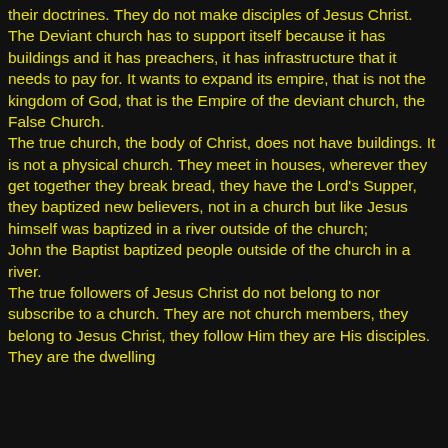their doctrines. They do not make disciples of Jesus Christ. The Deviant church has to support itself because it has buildings and it has preachers, it has infrastructure that it needs to pay for. It wants to expand its empire, that is not the kingdom of God, that is the Empire of the deviant church, the False Church. The true church, the body of Christ, does not have buildings. It is not a physical church. They meet in houses, wherever they get together they break bread, they have the Lord's Supper, they baptized new believers, not in a church but like Jesus himself was baptized in a river outside of the church; John the Baptist baptized people outside of the church in a river. The true followers of Jesus Christ do not belong to nor subscribe to a church. They are not church members, they belong to Jesus Christ, they follow Him they are His disciples. They are the dwelling